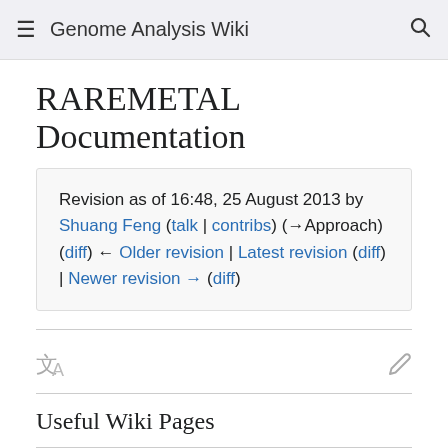Genome Analysis Wiki
RAREMETAL Documentation
Revision as of 16:48, 25 August 2013 by Shuang Feng (talk | contribs) (→Approach)
(diff) ← Older revision | Latest revision (diff) | Newer revision → (diff)
Useful Wiki Pages
Key Features